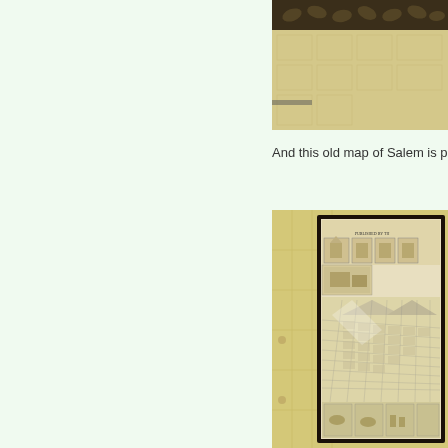[Figure (photo): Partial view of a framed picture or artwork with decorative botanical wallpaper background, showing the top portion of a framed item against an ornate dark patterned border/crown molding area.]
And this old map of Salem is pretty c
[Figure (photo): A framed old bird's-eye view map of Salem, hanging on a yellow tile wall. The map shows a detailed panoramic layout of Salem's streets and buildings. The frame is dark brown/black. The top of the map reads 'PUBLISHED BY TH...' and shows illustration vignettes of buildings at the top. The map shows a grid street layout of the city with mountains in the background.]